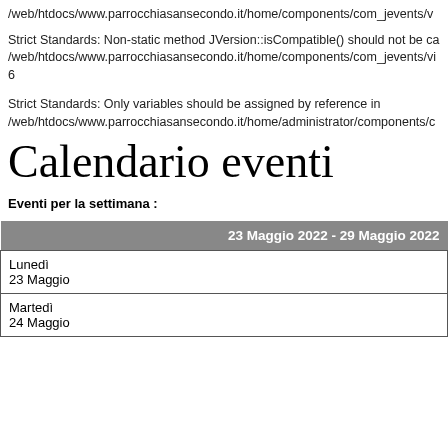/web/htdocs/www.parrocchiasansecondo.it/home/components/com_jevents/v
Strict Standards: Non-static method JVersion::isCompatible() should not be ca
/web/htdocs/www.parrocchiasansecondo.it/home/components/com_jevents/vi
6
Strict Standards: Only variables should be assigned by reference in
/web/htdocs/www.parrocchiasansecondo.it/home/administrator/components/c
Calendario eventi
Eventi per la settimana :
| 23 Maggio 2022 - 29 Maggio 2022 |
| --- |
| Lunedì
23 Maggio |
| Martedì
24 Maggio |